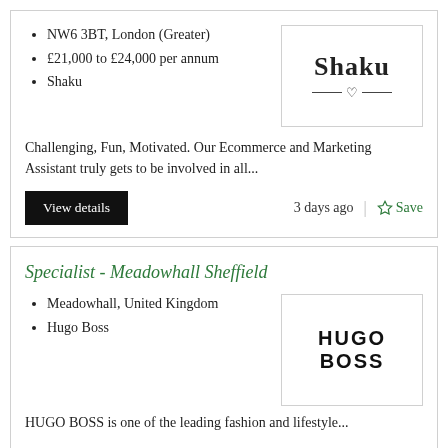NW6 3BT, London (Greater)
£21,000 to £24,000 per annum
Shaku
[Figure (logo): Shaku brand logo with stylized heart and horizontal lines]
Challenging, Fun, Motivated. Our Ecommerce and Marketing Assistant truly gets to be involved in all...
View details
3 days ago
Save
Specialist - Meadowhall Sheffield
Meadowhall, United Kingdom
Hugo Boss
[Figure (logo): Hugo Boss brand logo in bold black capitals]
HUGO BOSS is one of the leading fashion and lifestyle...